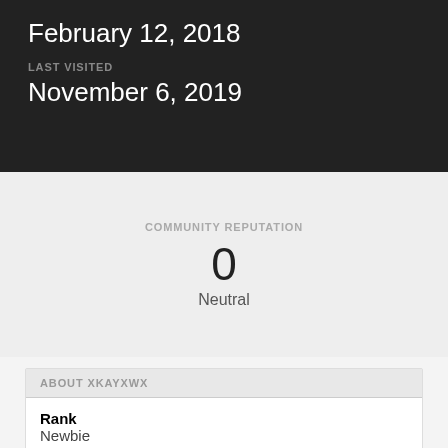February 12, 2018
LAST VISITED
November 6, 2019
COMMUNITY REPUTATION
0
Neutral
ABOUT XKAYXWX
Rank
Newbie
Pet Melbourne to Brisbane Flight?
xkayxwx posted a topic in Pets
Hi There. Just wondering if anyone has flown their pets themselves...